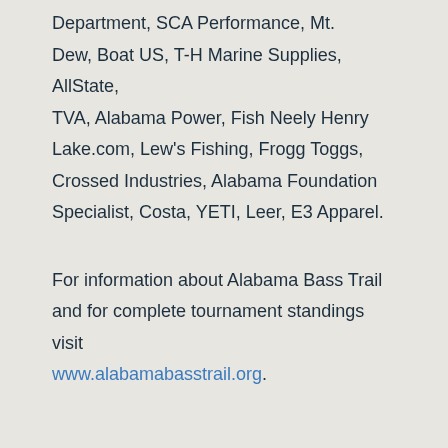Department, SCA Performance, Mt. Dew, Boat US, T-H Marine Supplies, AllState, TVA, Alabama Power, Fish Neely Henry Lake.com, Lew's Fishing, Frogg Toggs, Crossed Industries, Alabama Foundation Specialist, Costa, YETI, Leer, E3 Apparel.
For information about Alabama Bass Trail and for complete tournament standings visit www.alabamabasstrail.org.